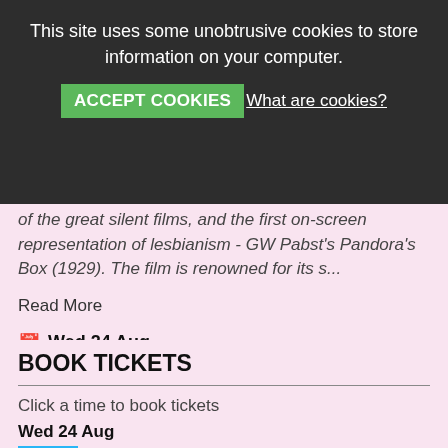This site uses some unobtrusive cookies to store information on your computer.
ACCEPT COOKIES  What are cookies?
of the great silent films, and the first on-screen representation of lesbianism - GW Pabst's Pandora's Box (1929). The film is renowned for its s...
Read More
Wed 24 Aug
133 minutes
BOOK TICKETS
Click a time to book tickets
Wed 24 Aug